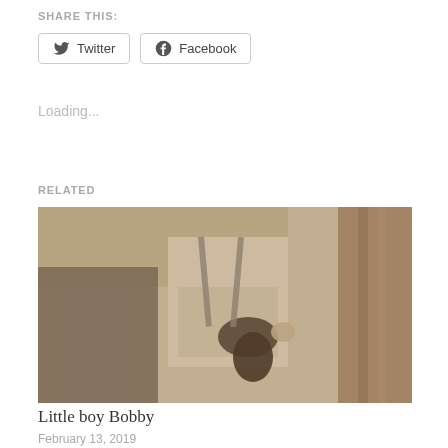SHARE THIS:
Twitter  Facebook
Loading...
RELATED
[Figure (photo): Sepia-toned vintage photograph of a little boy, appears to be holding something, wearing a light-colored coat/outfit, with a wooden background.]
Little boy Bobby
February 13, 2019